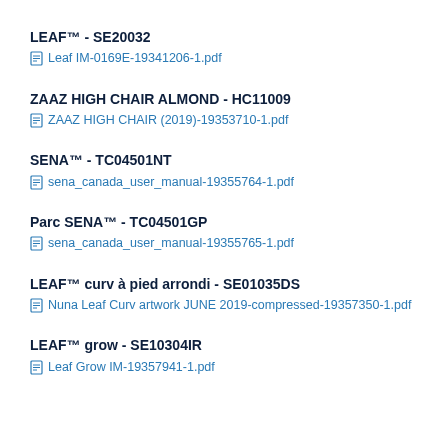LEAF™ - SE20032
Leaf IM-0169E-19341206-1.pdf
ZAAZ HIGH CHAIR ALMOND - HC11009
ZAAZ HIGH CHAIR (2019)-19353710-1.pdf
SENA™ - TC04501NT
sena_canada_user_manual-19355764-1.pdf
Parc SENA™ - TC04501GP
sena_canada_user_manual-19355765-1.pdf
LEAF™ curv à pied arrondi - SE01035DS
Nuna Leaf Curv artwork JUNE 2019-compressed-19357350-1.pdf
LEAF™ grow - SE10304IR
Leaf Grow IM-19357941-1.pdf